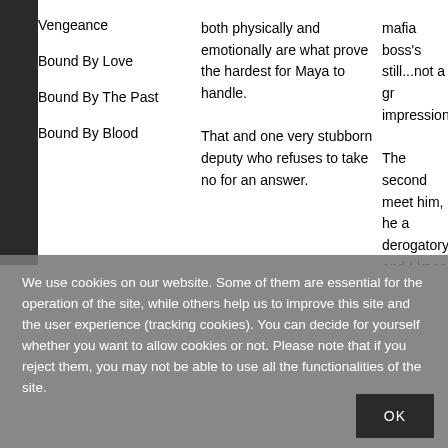Vengeance
Bound By Love
Bound By The Past
Bound By Blood
both physically and emotionally are what prove the hardest for Maya to handle.

That and one very stubborn deputy who refuses to take no for an answer.
mafia boss's still...not a gr impression.

The second meet him, he a derogatory, and I knee hi balls. Not ex
We use cookies on our website. Some of them are essential for the operation of the site, while others help us to improve this site and the user experience (tracking cookies). You can decide for yourself whether you want to allow cookies or not. Please note that if you reject them, you may not be able to use all the functionalities of the site.